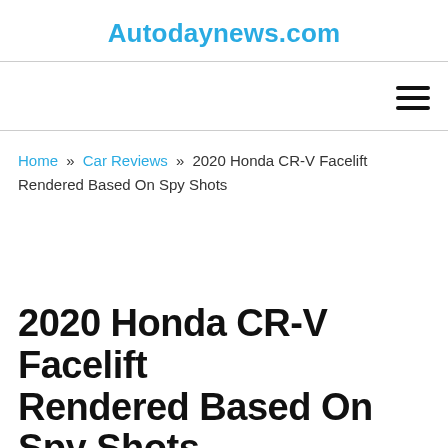Autodaynews.com
Home » Car Reviews » 2020 Honda CR-V Facelift Rendered Based On Spy Shots
2020 Honda CR-V Facelift Rendered Based On Spy Shots